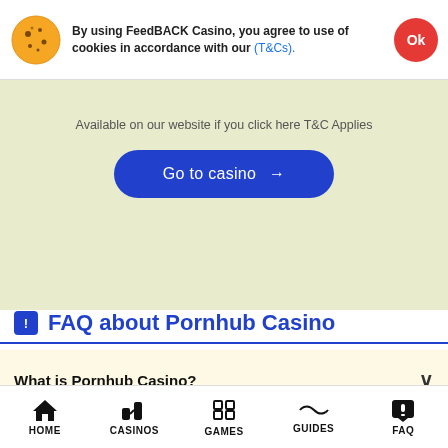By using FeedBACK Casino, you agree to use of cookies in accordance with our (T&Cs).
Available on our website if you click here T&C Applies
Go to casino →
FAQ about Pornhub Casino
What is Pornhub Casino?
Can we play live on Pornhub Casino?
Who operated Pornhub Casino?
HOME  CASINOS  GAMES  GUIDES  FAQ